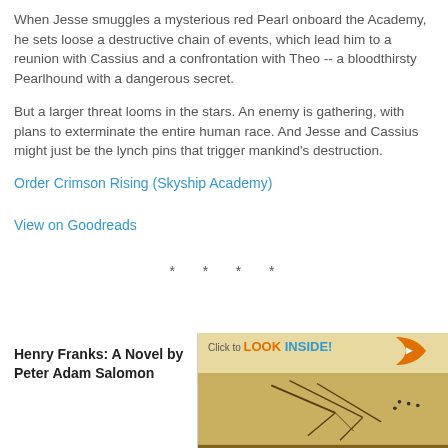When Jesse smuggles a mysterious red Pearl onboard the Academy, he sets loose a destructive chain of events, which lead him to a reunion with Cassius and a confrontation with Theo -- a bloodthirsty Pearlhound with a dangerous secret.
But a larger threat looms in the stars. An enemy is gathering, with plans to exterminate the entire human race. And Jesse and Cassius might just be the lynch pins that trigger mankind's destruction.
Order Crimson Rising (Skyship Academy)
View on Goodreads
* * * *
Henry Franks: A Novel by Peter Adam Salomon
[Figure (photo): Book cover image with 'Click to LOOK INSIDE!' badge and a golden-toned nature scene with tree branches]